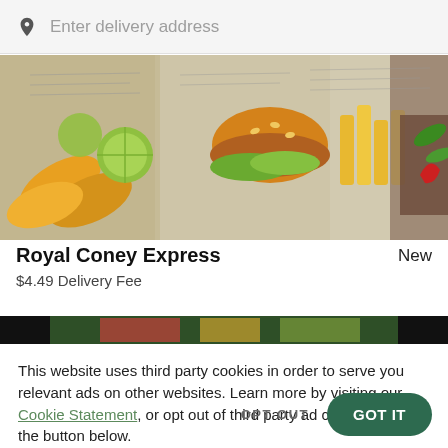Enter delivery address
[Figure (photo): Overhead view of food items including corn, burger, fries, avocado, and meat on newspaper print background]
Royal Coney Express
New
$4.49 Delivery Fee
[Figure (photo): Partial bottom strip of restaurant food photo showing dark background with colorful food]
This website uses third party cookies in order to serve you relevant ads on other websites. Learn more by visiting our Cookie Statement, or opt out of third party ad cookies using the button below.
OPT OUT
GOT IT